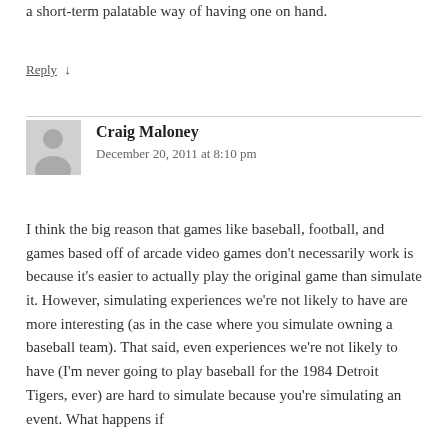a short-term palatable way of having one on hand.
Reply ↓
Craig Maloney
December 20, 2011 at 8:10 pm
I think the big reason that games like baseball, football, and games based off of arcade video games don't necessarily work is because it's easier to actually play the original game than simulate it. However, simulating experiences we're not likely to have are more interesting (as in the case where you simulate owning a baseball team). That said, even experiences we're not likely to have (I'm never going to play baseball for the 1984 Detroit Tigers, ever) are hard to simulate because you're simulating an event. What happens if the game doesn't go the same way as the World Series?